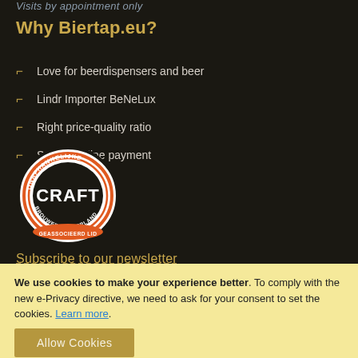Visits by appointment only
Why Biertap.eu?
Love for beerdispensers and beer
Lindr Importer BeNeLux
Right price-quality ratio
Secure online payment
[Figure (logo): CRAFT - Onafhankelijke Brouwers Nederland Geassocieerd Lid logo. Oval shaped logo with orange and black rings, CRAFT text in center.]
Subscribe to our newsletter
We use cookies to make your experience better. To comply with the new e-Privacy directive, we need to ask for your consent to set the cookies. Learn more.
Allow Cookies